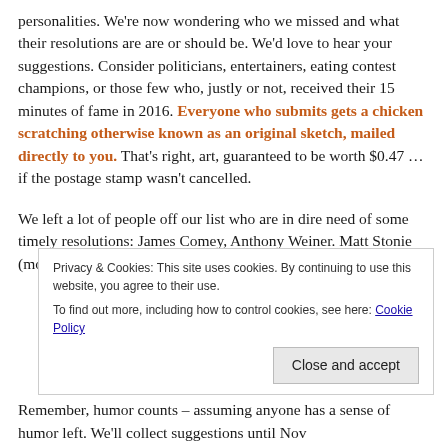personalities. We're now wondering who we missed and what their resolutions are are or should be. We'd love to hear your suggestions. Consider politicians, entertainers, eating contest champions, or those few who, justly or not, received their 15 minutes of fame in 2016. Everyone who submits gets a chicken scratching otherwise known as an original sketch, mailed directly to you. That's right, art, guaranteed to be worth $0.47 … if the postage stamp wasn't cancelled.
We left a lot of people off our list who are in dire need of some timely resolutions: James Comey, Anthony Weiner. Matt Stonie (moon pie eating champion).
Privacy & Cookies: This site uses cookies. By continuing to use this website, you agree to their use. To find out more, including how to control cookies, see here: Cookie Policy
Close and accept
Remember, humor counts – assuming anyone has a sense of humor left. We'll collect suggestions until Nov...